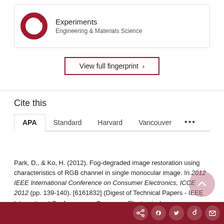[Figure (donut-chart): Donut chart showing a small red segment for Experiments in Engineering & Materials Science]
Experiments
Engineering & Materials Science
View full fingerprint >
Cite this
APA   Standard   Harvard   Vancouver   ...
Park, D., & Ko, H. (2012). Fog-degraded image restoration using characteristics of RGB channel in single monocular image. In 2012 IEEE International Conference on Consumer Electronics, ICCE 2012 (pp. 139-140). [6161832] (Digest of Technical Papers - IEEE International Conference on Consumer Electronics). https://doi.org/10.1109/ICCE.2012.6161832